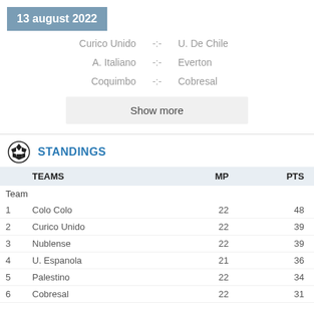13 august 2022
Curico Unido -:- U. De Chile
A. Italiano -:- Everton
Coquimbo -:- Cobresal
Show more
STANDINGS
| TEAMS | MP | PTS |
| --- | --- | --- |
| Team |  |  |
| 1  Colo Colo | 22 | 48 |
| 2  Curico Unido | 22 | 39 |
| 3  Nublense | 22 | 39 |
| 4  U. Espanola | 21 | 36 |
| 5  Palestino | 22 | 34 |
| 6  Cobresal | 22 | 31 |